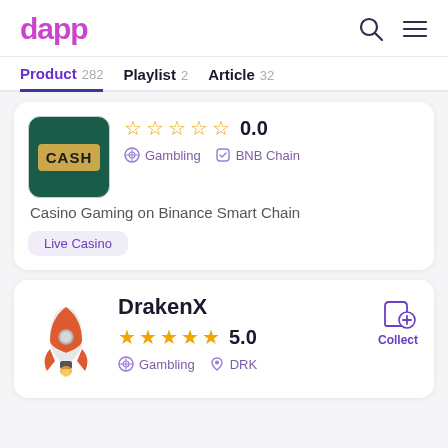dapp
Product 282   Playlist 2   Article 32
[Figure (screenshot): Casino app card with CASH image, 0.0 star rating, Gambling and BNB Chain tags, description 'Casino Gaming on Binance Smart Chain', pill tag 'Live Casino']
[Figure (screenshot): DrakenX app card with rocket icon, 5.0 star rating, Gambling and DRK tags, Collect button]